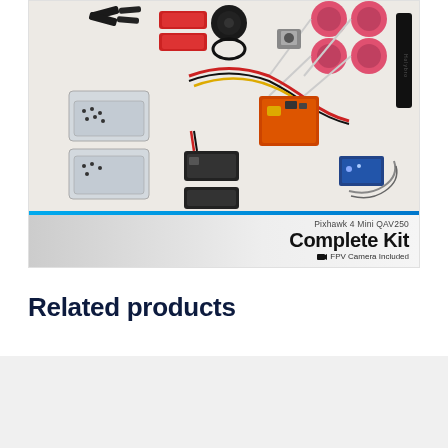[Figure (photo): Pixhawk 4 Mini QAV250 Complete Kit with FPV Camera Included — product photo showing drone components including frame parts, motors, ESCs, flight controller, GPS, camera, and accessories laid out on a light background. A banner at the bottom reads 'Pixhawk 4 Mini QAV250 Complete Kit ■ FPV Camera Included'.]
Related products